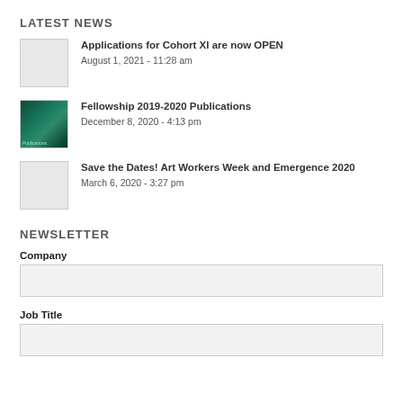LATEST NEWS
Applications for Cohort XI are now OPEN
August 1, 2021 - 11:28 am
Fellowship 2019-2020 Publications
December 8, 2020 - 4:13 pm
Save the Dates! Art Workers Week and Emergence 2020
March 6, 2020 - 3:27 pm
NEWSLETTER
Company
Job Title